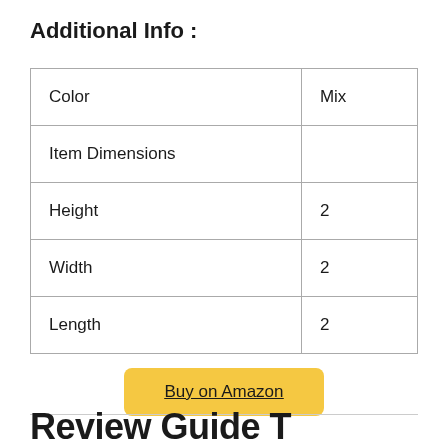Additional Info :
| Color | Mix |
| Item Dimensions |  |
| Height | 2 |
| Width | 2 |
| Length | 2 |
Buy on Amazon
Review Guide T...